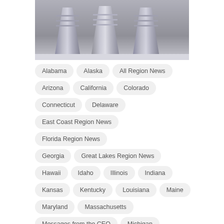[Figure (photo): Three metallic/plastic cups or containers arranged in a row against a grey background]
Alabama
Alaska
All Region News
Arizona
California
Colorado
Connecticut
Delaware
East Coast Region News
Florida Region News
Georgia
Great Lakes Region News
Hawaii
Idaho
Illinois
Indiana
Kansas
Kentucky
Louisiana
Maine
Maryland
Massachusetts
Messages from the CEO
Michigan
Mid-Atlantic Region News
Midwest Region News
Minnesota
Mississippi
Missouri
Montana